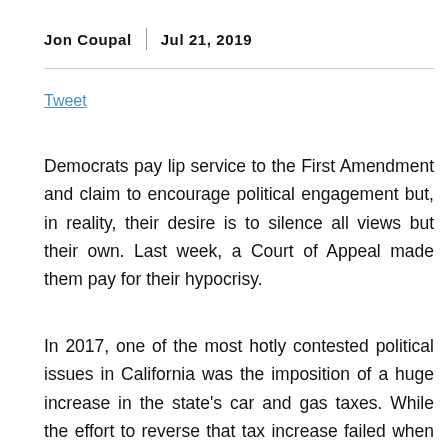Jon Coupal  |  Jul 21, 2019
Tweet
Democrats pay lip service to the First Amendment and claim to encourage political engagement but, in reality, their desire is to silence all views but their own. Last week, a Court of Appeal made them pay for their hypocrisy.
In 2017, one of the most hotly contested political issues in California was the imposition of a huge increase in the state's car and gas taxes. While the effort to reverse that tax increase failed when voters — victims of a